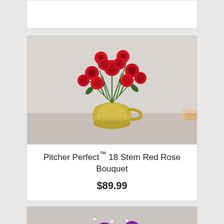[Figure (photo): Partial view of a previous product card at top of page, cut off]
[Figure (photo): Pitcher Perfect 18 Stem Red Rose Bouquet product photo: red roses with baby's breath arranged in a gold pitcher vase, on a light gray background]
Pitcher Perfect™ 18 Stem Red Rose Bouquet
$89.99
[Figure (photo): Partial view of another floral product card at the bottom of the page, cut off, showing red and purple flowers]